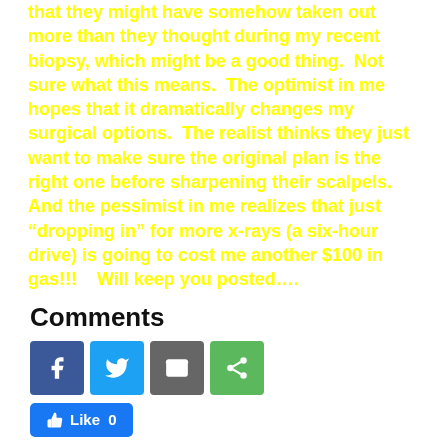that they might have somehow taken out more than they thought during my recent biopsy, which might be a good thing.  Not sure what this means.  The optimist in me hopes that it dramatically changes my surgical options.  The realist thinks they just want to make sure the original plan is the right one before sharpening their scalpels.  And the pessimist in me realizes that just "dropping in" for more x-rays (a six-hour drive) is going to cost me another $100 in gas!!!   Will keep you posted....
Comments
[Figure (infographic): Social media share buttons: Facebook (blue), Twitter (light blue), Email (gray), Share (green)]
[Figure (infographic): Facebook Like button showing 0 likes]
Post Views: 88